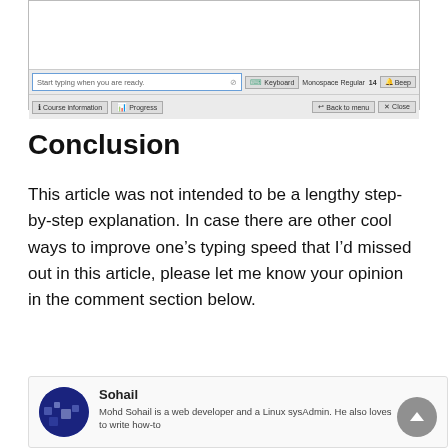[Figure (screenshot): Screenshot of a typing practice application showing a text input field with placeholder 'Start typing when you are ready.', toolbar buttons including Keyboard, Monospace Regular 14, Beep, Course information, Progress, Back to menu, and Close.]
Conclusion
This article was not intended to be a lengthy step-by-step explanation. In case there are other cool ways to improve one's typing speed that I'd missed out in this article, please let me know your opinion in the comment section below.
Sohail
Mohd Sohail is a web developer and a Linux sysAdmin. He also loves to write how-to